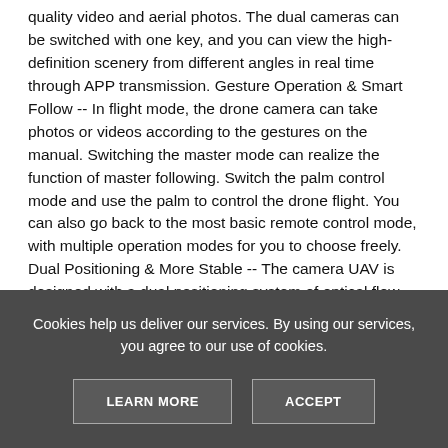quality video and aerial photos. The dual cameras can be switched with one key, and you can view the high-definition scenery from different angles in real time through APP transmission. Gesture Operation & Smart Follow -- In flight mode, the drone camera can take photos or videos according to the gestures on the manual. Switching the master mode can realize the function of master following. Switch the palm control mode and use the palm to control the drone flight. You can also go back to the most basic remote control mode, with multiple operation modes for you to choose freely. Dual Positioning & More Stable -- The camera UAV is designed with a dual positioning system of optical flow and air pressure. It is equipped with optical flow positioning in the horizontal direction and air pressure setting in the vertical direction, so as to achieve
Cookies help us deliver our services. By using our services, you agree to our use of cookies.
LEARN MORE
ACCEPT